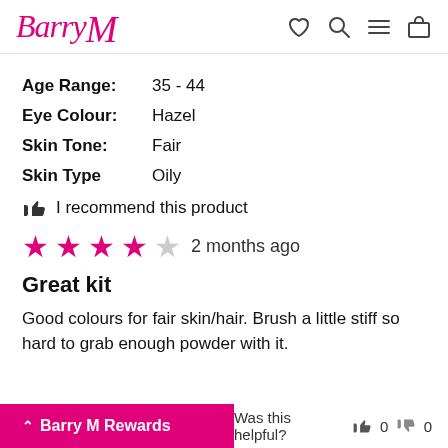Barry M
Age Range: 35 - 44
Eye Colour: Hazel
Skin Tone: Fair
Skin Type: Oily
I recommend this product
★★★★☆ 2 months ago
Great kit
Good colours for fair skin/hair. Brush a little stiff so hard to grab enough powder with it.
Barry M Rewards  Was this helpful? 👍 0 👎 0